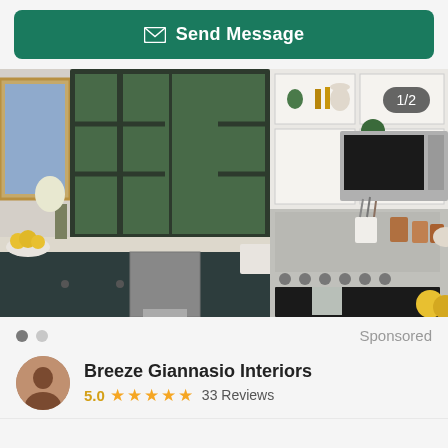[Figure (other): Green 'Send Message' button with envelope icon]
[Figure (photo): Interior kitchen photo showing dark green cabinets, white upper cabinets, farmhouse sink, copper accents, stainless steel appliances, and yellow flowers. Image counter badge reads 1/2.]
Sponsored
Breeze Giannasio Interiors
5.0 ★★★★★ 33 Reviews